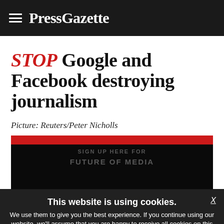PressGazette
STOP Google and Facebook destroying journalism
Picture: Reuters/Peter Nicholls
[Figure (other): Image area with red and black stripes, partially covered by a cookie consent banner. Ghost text visible: SIGN UP HERE FOR FUTURE OF MEDIA, Press Gazette read weekly newsletter ... interviews, data, insight and investigation.]
This website is using cookies. We use them to give you the best experience. If you continue using our website, we'll assume that you are happy to receive all cookies on this website.
Continue   Learn more